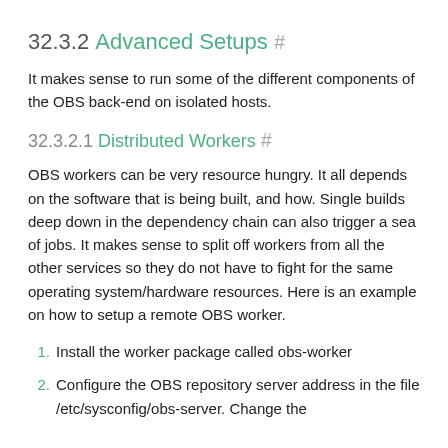32.3.2 Advanced Setups #
It makes sense to run some of the different components of the OBS back-end on isolated hosts.
32.3.2.1 Distributed Workers #
OBS workers can be very resource hungry. It all depends on the software that is being built, and how. Single builds deep down in the dependency chain can also trigger a sea of jobs. It makes sense to split off workers from all the other services so they do not have to fight for the same operating system/hardware resources. Here is an example on how to setup a remote OBS worker.
Install the worker package called obs-worker
Configure the OBS repository server address in the file /etc/sysconfig/obs-server. Change the